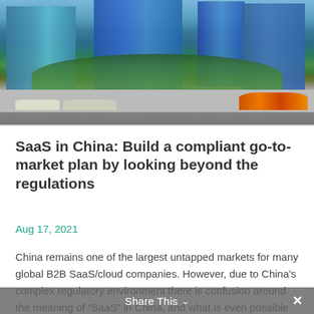[Figure (photo): Urban street scene in China with tall modern glass skyscrapers, green trees lining the street, cars and pedestrians visible, orange flowers in the foreground on the right]
SaaS in China: Build a compliant go-to-market plan by looking beyond the regulations
Aug 17, 2021
China remains one of the largest untapped markets for many global B2B SaaS/cloud companies. However, due to China's complex regulatory environment there is confusion around the meaning of “SaaS” in China, and what is even possible for foreign companies. When SaaS…